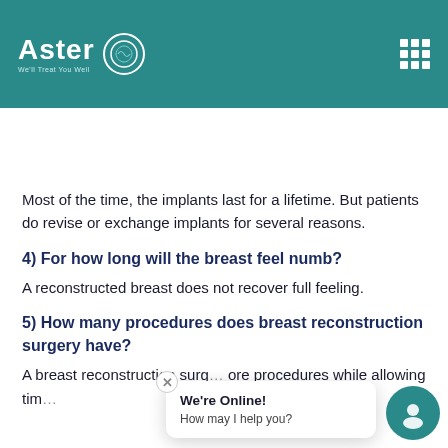[Figure (logo): Aster hospital logo with circular emblem on teal header background with grid menu icon]
Our Hospitals | Our Specialities | Book An Appointment
Most of the time, the implants last for a lifetime. But patients do revise or exchange implants for several reasons.
4) For how long will the breast feel numb?
A reconstructed breast does not recover full feeling.
5) How many procedures does breast reconstruction surgery have?
A breast reconstruction surg… ore procedures while allowing tim…